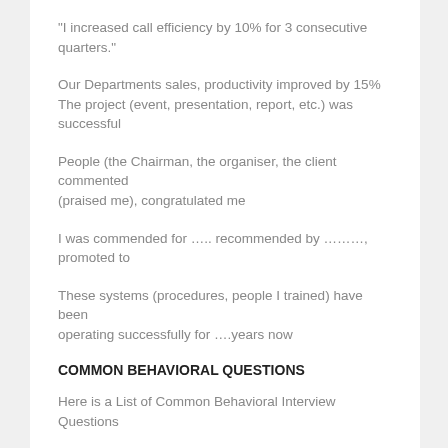“I increased call efficiency by 10% for 3 consecutive quarters.”
Our Departments sales, productivity improved by 15%
The project (event, presentation, report, etc.) was successful
People (the Chairman, the organiser, the client commented (praised me), congratulated me
I was commended for ….. recommended by …….., promoted to
These systems (procedures, people I trained) have been operating successfully for ….years now
COMMON BEHAVIORAL QUESTIONS
Here is a List of Common Behavioral Interview Questions
1.	 Can you please tell us a bit about yourself.